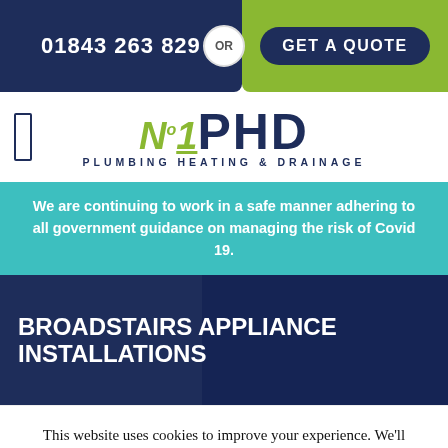01843 263 829 OR GET A QUOTE
[Figure (logo): No1PHD Plumbing Heating & Drainage logo with green No1 and dark blue PHD text]
We are continuing to work in a safe manner adhering to all government guidance on managing the risk of Covid 19.
BROADSTAIRS APPLIANCE INSTALLATIONS
This website uses cookies to improve your experience. We'll assume you're ok with this, but you can opt-out if you wish.
Accept  Reject  Our Cookie Policy